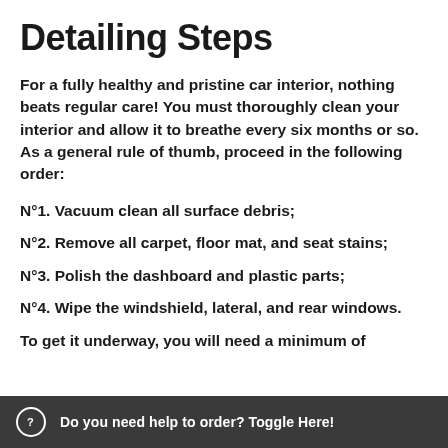Detailing Steps
For a fully healthy and pristine car interior, nothing beats regular care! You must thoroughly clean your interior and allow it to breathe every six months or so. As a general rule of thumb, proceed in the following order:
N°1. Vacuum clean all surface debris;
N°2. Remove all carpet, floor mat, and seat stains;
N°3. Polish the dashboard and plastic parts;
N°4. Wipe the windshield, lateral, and rear windows.
To get it underway, you will need a minimum of
Do you need help to order? Toggle Here!